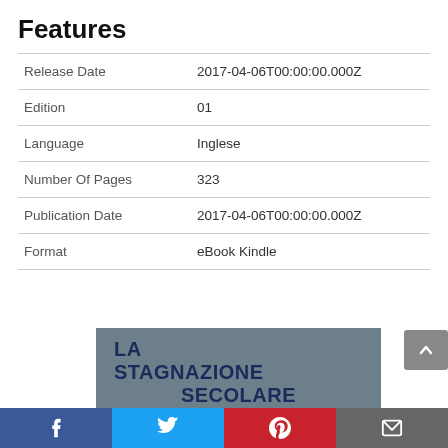Features
| Feature | Value |
| --- | --- |
| Release Date | 2017-04-06T00:00:00.000Z |
| Edition | 01 |
| Language | Inglese |
| Number Of Pages | 323 |
| Publication Date | 2017-04-06T00:00:00.000Z |
| Format | eBook Kindle |
[Figure (illustration): Book cover for 'La Stagnazione Secolare - ipotesi a confronto' with grey background and dark blue bold text]
Facebook | Twitter | Pinterest | Email social sharing bar